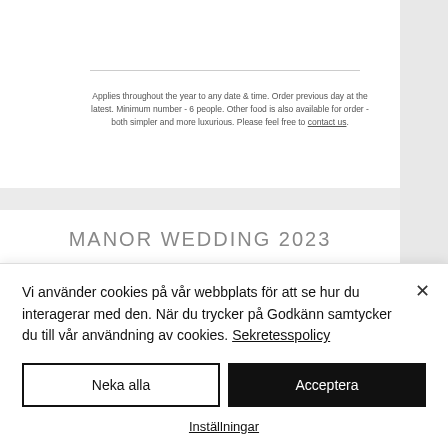Applies throughout the year to any date & time. Order previous day at the latest. Minimum number - 6 people. Other food is also available for order - both simpler and more luxurious. Please feel free to contact us.
MANOR WEDDING 2023
Now is the time to book your manor wedding 2023. This is an important day in your life and
Vi använder cookies på vår webbplats för att se hur du interagerar med den. När du trycker på Godkänn samtycker du till vår användning av cookies. Sekretesspolicy
Neka alla
Acceptera
Inställningar